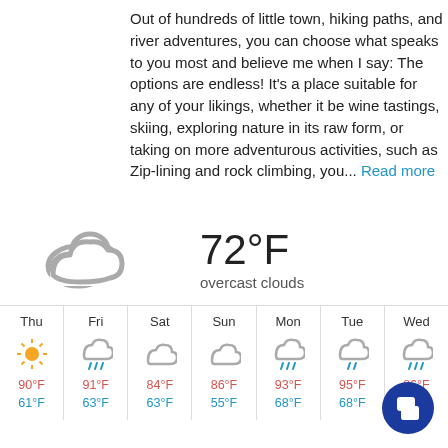Out of hundreds of little town, hiking paths, and river adventures, you can choose what speaks to you most and believe me when I say: The options are endless! It's a place suitable for any of your likings, whether it be wine tastings, skiing, exploring nature in its raw form, or taking on more adventurous activities, such as Zip-lining and rock climbing, you... Read more
[Figure (illustration): Weather widget showing overcast clouds icon with 72°F temperature and 'overcast clouds' label]
[Figure (infographic): 7-day weather forecast: Thu 90°F/61°F sunny, Fri 91°F/63°F rain, Sat 84°F/63°F cloudy, Sun 86°F/55°F cloudy, Mon 93°F/68°F rain, Tue 95°F/68°F rain, Wed 86°F/66°F rain]